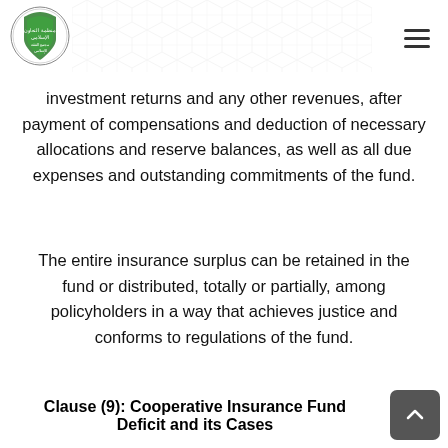Islamic Cooperative Insurance logo and navigation
investment returns and any other revenues, after payment of compensations and deduction of necessary allocations and reserve balances, as well as all due expenses and outstanding commitments of the fund.
The entire insurance surplus can be retained in the fund or distributed, totally or partially, among policyholders in a way that achieves justice and conforms to regulations of the fund.
Clause (9): Cooperative Insurance Fund Deficit and its Cases